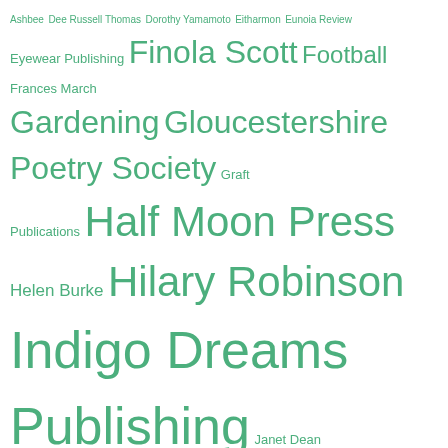[Figure (infographic): Tag cloud with names of poets, publishers, and literary organizations in various green font sizes, with the most prominent entries (largest text) being: Indigo Dreams Publishing, Jenni Wyn Hyatt, Kathryn Alderman, Maggie Mackay, Nicky Phillips, Nine Arches Press, Oversteps Books, Picaroon Poetry, Rebecca Sillence, Red Squirrel Press, Roger Turner, Sarah J Bryson, Sarah Leavesley, Sharon Larkin, Silver Birches, Smith/Doorstop, Stephen Daniels, The Fat]